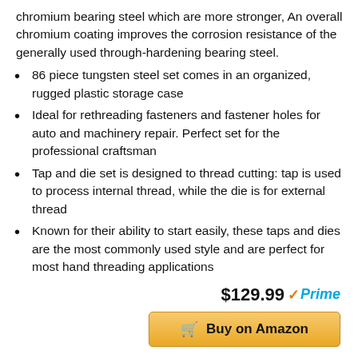chromium bearing steel which are more stronger, An overall chromium coating improves the corrosion resistance of the generally used through-hardening bearing steel.
86 piece tungsten steel set comes in an organized, rugged plastic storage case
Ideal for rethreading fasteners and fastener holes for auto and machinery repair. Perfect set for the professional craftsman
Tap and die set is designed to thread cutting: tap is used to process internal thread, while the die is for external thread
Known for their ability to start easily, these taps and dies are the most commonly used style and are perfect for most hand threading applications
$129.99 Prime
Buy on Amazon